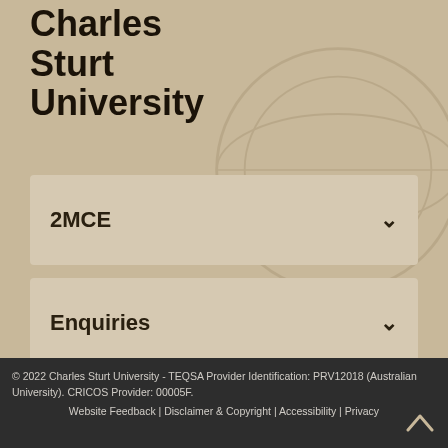Charles Sturt University
2MCE
Enquiries
[Figure (other): Five social media icon placeholders rendered as outlined rectangles]
© 2022 Charles Sturt University - TEQSA Provider Identification: PRV12018 (Australian University). CRICOS Provider: 00005F. Website Feedback | Disclaimer & Copyright | Accessibility | Privacy